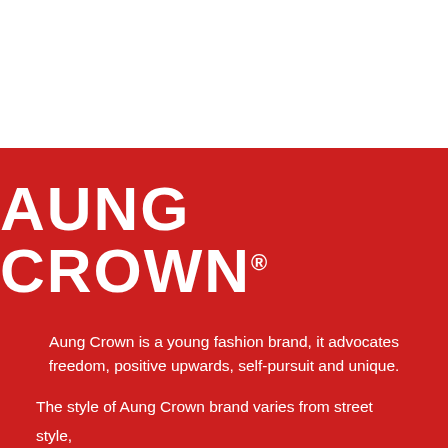[Figure (logo): Aung Crown brand logo in white stencil-style bold capital letters on red background with registered trademark symbol]
Aung Crown is a young fashion brand, it advocates freedom, positive upwards, self-pursuit and unique.
The style of Aung Crown brand varies from street style, leisure to sports, etc. We aimed at helping those who have passion to life and holding on to their dreams by